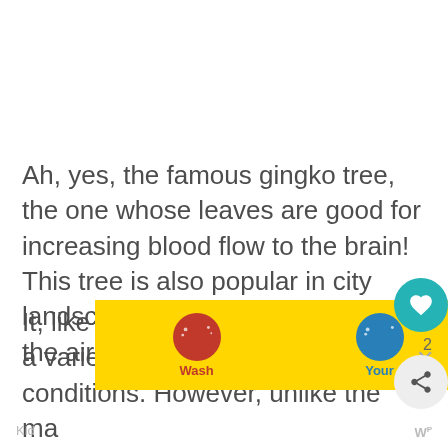Ah, yes, the famous gingko tree, the one whose leaves are good for increasing blood flow to the brain! This tree is also popular in city landscapes because it helps filter the air.
It, like the maple, is very tolerant of a variety of soil, air, and water conditions. However, unlike the maple and the oak, it doesn't grow super tall. It's perfect for the urban environment where a touch of green is wanted to spruce up a small space.
[Figure (illustration): Wash Your Hands Often advertisement banner with colorful hand-washing illustrations on yellow background]
Kid